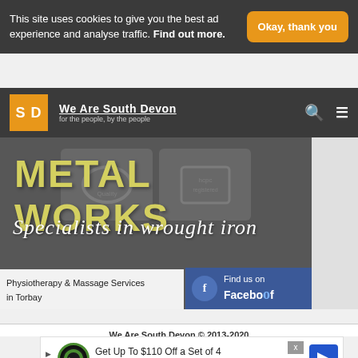This site uses cookies to give you the best ad experience and analyse traffic. Find out more.
Okay, thank you
[Figure (logo): We Are South Devon logo — orange SD box and site name]
[Figure (screenshot): Metal Works ad banner — 'METAL WORKS' in yellow, 'Specialists in wrought iron' in italic white, Physiotherapy & Massage Services in Torbay, Find us on Facebook]
We Are South Devon © 2013-2020
[Figure (infographic): Bottom advertisement: Get Up To $110 Off a Set of 4 Select Firestone Tires]